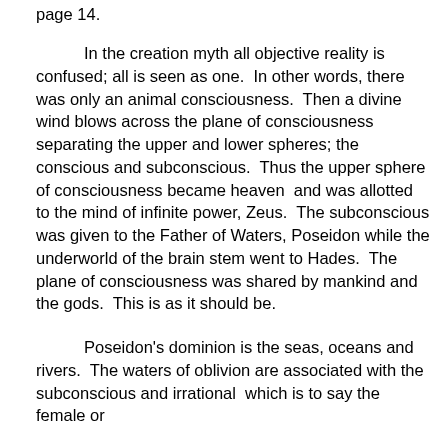page 14.
In the creation myth all objective reality is confused; all is seen as one.  In other words, there was only an animal consciousness.  Then a divine wind blows across the plane of consciousness separating the upper and lower spheres; the conscious and subconscious.  Thus the upper sphere of consciousness became heaven  and was allotted to the mind of infinite power, Zeus.  The subconscious was given to the Father of Waters, Poseidon while the underworld of the brain stem went to Hades.  The plane of consciousness was shared by mankind and the gods.  This is as it should be.
Poseidon's dominion is the seas, oceans and rivers.  The waters of oblivion are associated with the subconscious and irrational  which is to say the female or